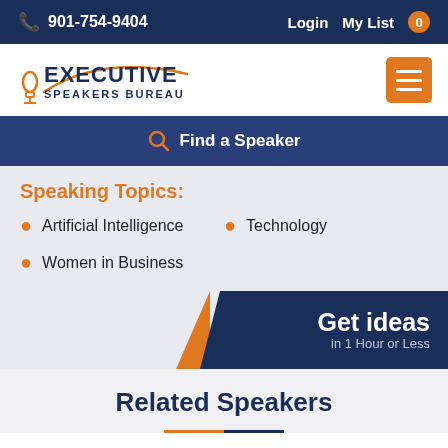901-754-9404  Login  My List 0
[Figure (logo): Executive Speakers Bureau logo with microphone icon and orange arc]
Find a Speaker
Speaking Topics:
Artificial Intelligence
Technology
Women in Business
Get ideas in 1 Hour or Less
Related Speakers